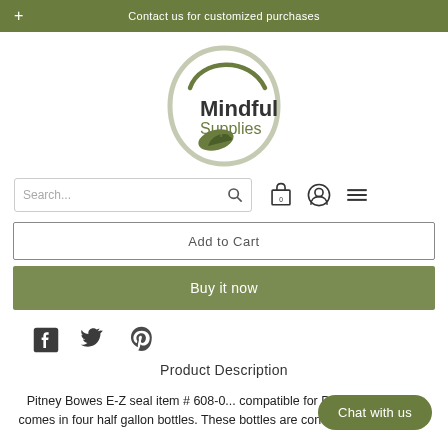+ Contact us for customized purchases
[Figure (logo): Mindful Supplies logo with green leaf and circular swoosh design]
Search...
Add to Cart
Buy it now
[Figure (illustration): Social media icons: Facebook, Twitter, Pinterest]
Product Description
Pitney Bowes E-Z seal item # 608-0... compatible for Pitney Bowes and comes in four half gallon bottles. These bottles are convenient to refill your
Chat with us